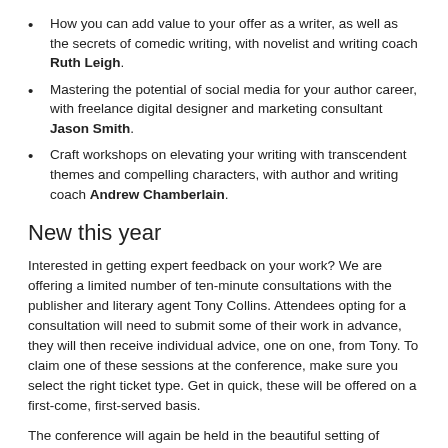How you can add value to your offer as a writer, as well as the secrets of comedic writing, with novelist and writing coach Ruth Leigh.
Mastering the potential of social media for your author career, with freelance digital designer and marketing consultant Jason Smith.
Craft workshops on elevating your writing with transcendent themes and compelling characters, with author and writing coach Andrew Chamberlain.
New this year
Interested in getting expert feedback on your work? We are offering a limited number of ten-minute consultations with the publisher and literary agent Tony Collins. Attendees opting for a consultation will need to submit some of their work in advance, they will then receive individual advice, one on one, from Tony. To claim one of these sessions at the conference, make sure you select the right ticket type. Get in quick, these will be offered on a first-come, first-served basis.
The conference will again be held in the beautiful setting of Ridley Hall, in Cambridge on Saturday 3rd September. Doors open at 9.15 am with refreshments served from then, the program starts promptly at 9.40 am.